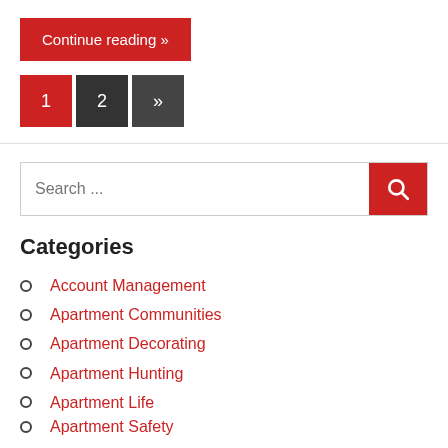Continue reading »
1  2  »
Search ...
Categories
Account Management
Apartment Communities
Apartment Decorating
Apartment Hunting
Apartment Life
Apartment Safety